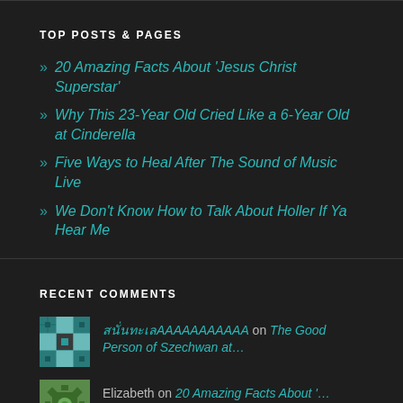TOP POSTS & PAGES
» 20 Amazing Facts About 'Jesus Christ Superstar'
» Why This 23-Year Old Cried Like a 6-Year Old at Cinderella
» Five Ways to Heal After The Sound of Music Live
» We Don't Know How to Talk About Holler If Ya Hear Me
RECENT COMMENTS
on The Good Person of Szechwan at...
Elizabeth on 20 Amazing Facts About '...